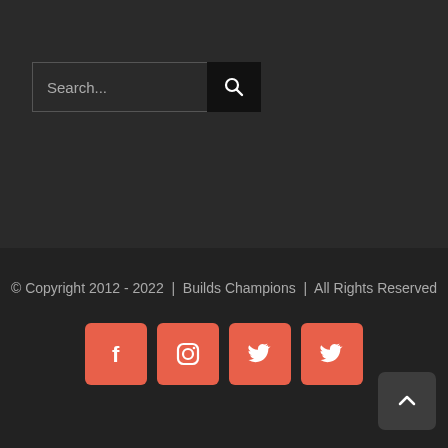[Figure (screenshot): Search bar with text input showing 'Search...' placeholder and a black search button with magnifying glass icon]
© Copyright 2012 - 2022  |  Builds Champions  |  All Rights Reserved
[Figure (infographic): Four salmon/coral colored square social media icon buttons: Facebook (f), Instagram, Twitter (bird), Twitter (bird), followed by a dark grey back-to-top button with up chevron arrow]